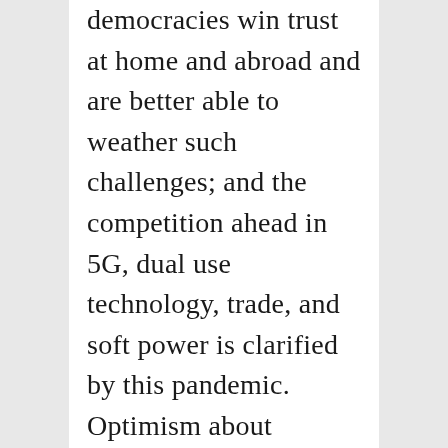democracies win trust at home and abroad and are better able to weather such challenges; and the competition ahead in 5G, dual use technology, trade, and soft power is clarified by this pandemic. Optimism about Washington and Beijing working together to deal with the pandemic and the economic recovery is